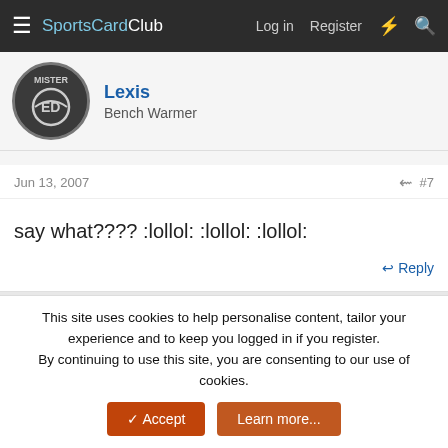SportsCardClub — Log in  Register
[Figure (screenshot): User avatar for Lexis (Mister ED style circular avatar)]
Lexis
Bench Warmer
Jun 13, 2007  #7
say what???? :lollol: :lollol: :lollol:
Reply
[Figure (screenshot): Text editor toolbar with bold, italic, list, link, image, emoji, undo buttons and a reply text area with placeholder 'Write your reply...']
This site uses cookies to help personalise content, tailor your experience and to keep you logged in if you register.
By continuing to use this site, you are consenting to our use of cookies.
Accept  Learn more...